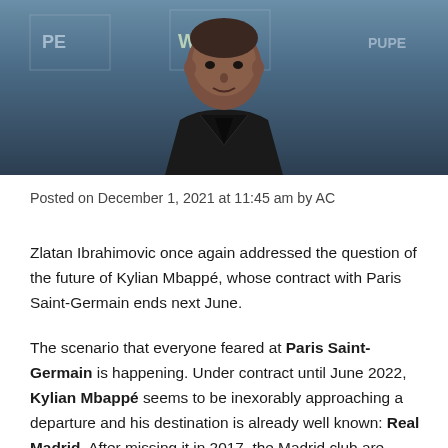[Figure (photo): Close-up photo of a person (Kylian Mbappé) in a black suit at a press/event backdrop with logos including 'WMH' and 'PYPE']
Posted on December 1, 2021 at 11:45 am by AC
Zlatan Ibrahimovic once again addressed the question of the future of Kylian Mbappé, whose contract with Paris Saint-Germain ends next June.
The scenario that everyone feared at Paris Saint-Germain is happening. Under contract until June 2022, Kylian Mbappé seems to be inexorably approaching a departure and his destination is already well known: Real Madrid. After missing it in 2017, the Madrid club are determined to make up for their mistake and after offering up to € 180m to PSG this summer, he will be